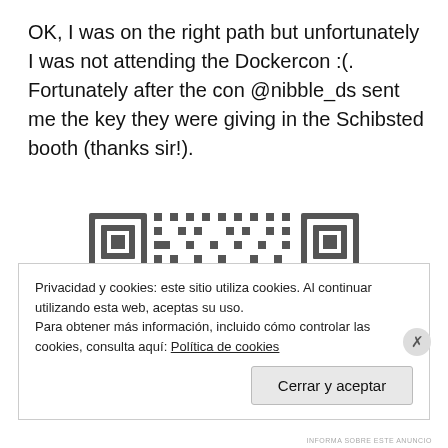OK, I was on the right path but unfortunately I was not attending the Dockercon :(. Fortunately after the con @nibble_ds sent me the key they were giving in the Schibsted booth (thanks sir!).
[Figure (other): QR code image, partially visible, showing a black and white QR code pattern.]
Privacidad y cookies: este sitio utiliza cookies. Al continuar utilizando esta web, aceptas su uso.
Para obtener más información, incluido cómo controlar las cookies, consulta aquí: Política de cookies
Cerrar y aceptar
INFORMA SOBRE ESTE ANUNCIO